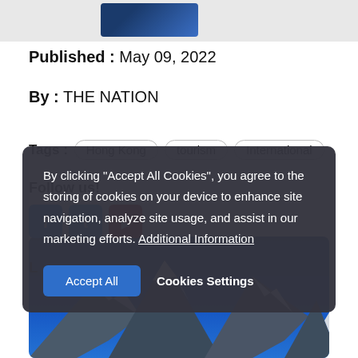[Figure (photo): Partial thumbnail image strip at top of page showing a blue-toned image]
Published : May 09, 2022
By : THE NATION
Tags :   Hong Kong   tourism   International
Follow us!
[Figure (illustration): Social media icons for Facebook, Twitter, and YouTube]
L
By clicking "Accept All Cookies", you agree to the storing of cookies on your device to enhance site navigation, analyze site usage, and assist in our marketing efforts. Additional Information
Accept All   Cookies Settings
[Figure (photo): Mountain peaks under a deep blue sky, snow-capped mountains in alpine landscape]